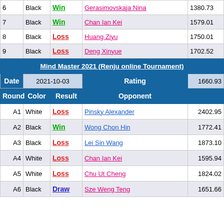| Round | Color | Result | Opponent | Rating |
| --- | --- | --- | --- | --- |
| 6 | Black | Win | Gerasimovskaja Nina | 1380.73 |
| 7 | Black | Win | Chan Ian Kei | 1579.01 |
| 8 | Black | Loss | Huang Ziyu | 1750.01 |
| 9 | Black | Loss | Deng Xinyue | 1702.52 |
| Date | 2021-10-03 | Rating | 1660.93 |
| --- | --- | --- | --- |
| Round | Color | Result | Opponent |  |
| A1 | White | Loss | Pinsky Alexander | 2402.95 |
| A2 | Black | Win | Wong Chon Hin | 1772.41 |
| A3 | Black | Loss | Lei Sin Wang | 1873.10 |
| A4 | White | Loss | Chan Ian Kei | 1595.94 |
| A5 | White | Loss | Chu Ut Cheng | 1824.02 |
| A6 | Black | Draw | Sze Weng Teng | 1651.66 |